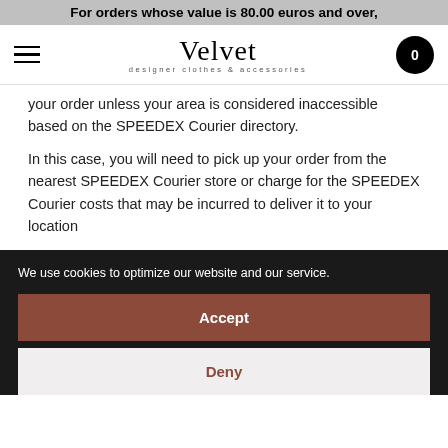For orders whose value is 80.00 euros and over,
[Figure (screenshot): Navigation bar with hamburger menu icon on left, Velvet designer clothes & accessories logo in center, and cart circle with 0 on right]
your order unless your area is considered inaccessible based on the SPEEDEX Courier directory.
In this case, you will need to pick up your order from the nearest SPEEDEX Courier store or charge for the SPEEDEX Courier costs that may be incurred to deliver it to your location
We use cookies to optimize our website and our service.
Accept
Deny